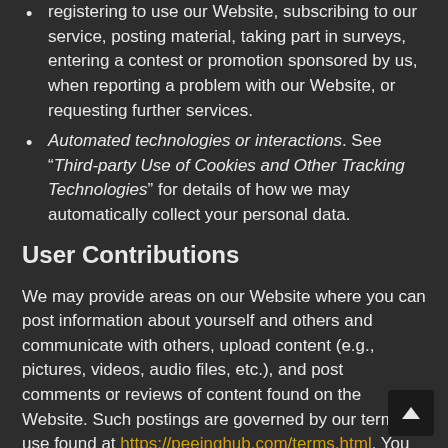registering to use our Website, subscribing to our service, posting material, taking part in surveys, entering a contest or promotion sponsored by us, when reporting a problem with our Website, or requesting further services.
Automated technologies or interactions. See “Third-party Use of Cookies and Other Tracking Technologies” for details of how we may automatically collect your personal data.
User Contributions
We may provide areas on our Website where you can post information about yourself and others and communicate with others, upload content (e.g., pictures, videos, audio files, etc.), and post comments or reviews of content found on the Website. Such postings are governed by our terms of use found at https://peeinghub.com/terms.html. You should be aware that any Personal Information you submit, display, or publish in public areas of our website is considered publicly available and can be read, collected, used, and disclosed by others. We cannot control who reads your posting or what other users may do with the information you voluntarily post so we encourage you to exercise discretion and caution with